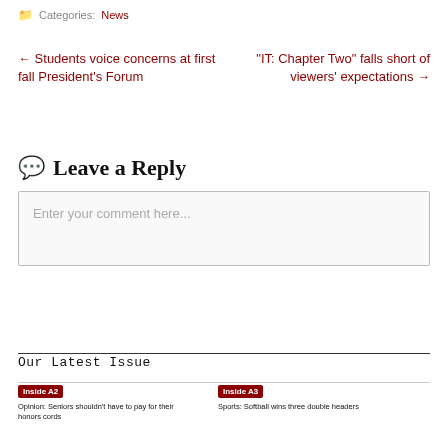Categories: News
← Students voice concerns at first fall President's Forum
"IT: Chapter Two" falls short of viewers' expectations →
Leave a Reply
Enter your comment here...
Our Latest Issue
Inside A2 — Opinion: Seniors shouldn't have to pay for their honors cords
Inside A3 — Sports: Softball wins three double headers